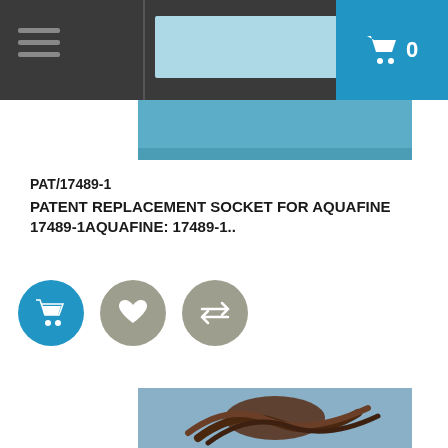[Figure (screenshot): Top navigation bar with hamburger menu, search/logo area, and cart button showing 0 items]
[Figure (photo): Top portion of product photo showing blue/teal background, partially cut off at top]
PAT/17489-1
PATENT REPLACEMENT SOCKET FOR AQUAFINE 17489-1AQUAFINE: 17489-1..
[Figure (infographic): Three circular action buttons: blue cart button, gray heart/wishlist button, gray compare/transfer button]
[Figure (photo): Bottom product photo showing brown/dark wire cables coiled against a light blue background]